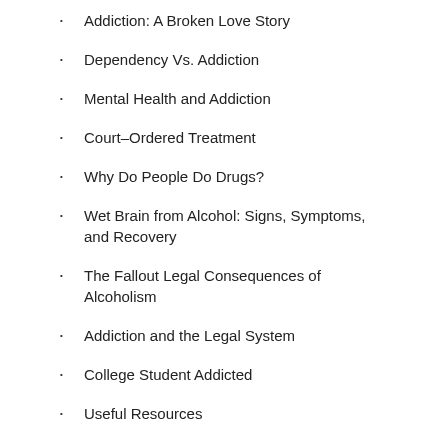Addiction: A Broken Love Story
Dependency Vs. Addiction
Mental Health and Addiction
Court-Ordered Treatment
Why Do People Do Drugs?
Wet Brain from Alcohol: Signs, Symptoms, and Recovery
The Fallout Legal Consequences of Alcoholism
Addiction and the Legal System
College Student Addicted
Useful Resources